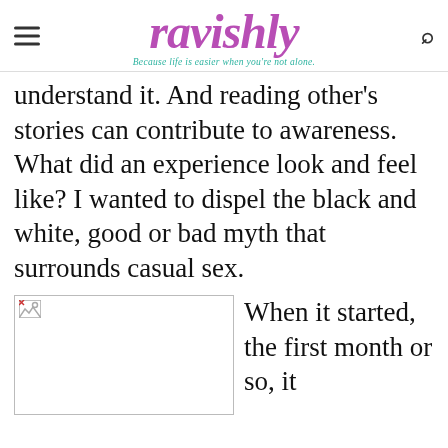ravishly — Because life is easier when you're not alone.
understand it. And reading other's stories can contribute to awareness. What did an experience look and feel like? I wanted to dispel the black and white, good or bad myth that surrounds casual sex.
[Figure (photo): Broken/missing image placeholder]
When it started, the first month or so, it